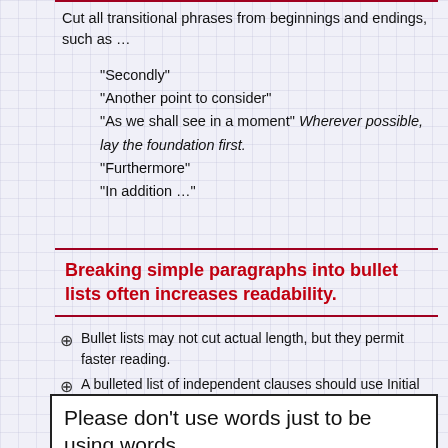Cut all transitional phrases from beginnings and endings, such as …
“Secondly”
“Another point to consider”
“As we shall see in a moment” Wherever possible, lay the foundation first.
“Furthermore”
“In addition …”
Breaking simple paragraphs into bullet lists often increases readability.
Bullet lists may not cut actual length, but they permit faster reading.
A bulleted list of independent clauses should use Initial Capital Letters.
A list of words or phrases should not.
Please don’t use words just to be using words.
(even if you get paid that way …
especially (if someone paid that way)